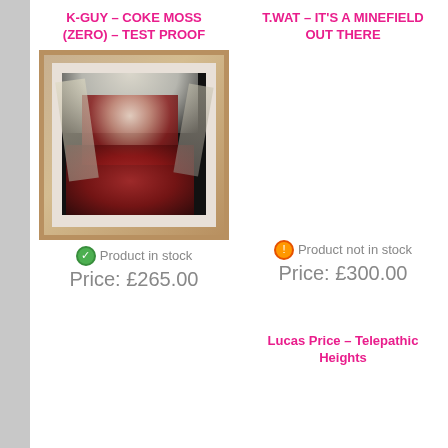K-GUY – COKE MOSS (ZERO) – TEST PROOF
[Figure (photo): Framed art print showing a stylized portrait of a woman with white/blonde hair and a red patterned overlay covering her face and body against a dark background, mounted in a wooden frame with white mat border]
Product in stock
Price: £265.00
T.WAT – IT'S A MINEFIELD OUT THERE
Product not in stock
Price: £300.00
Lucas Price – Telepathic Heights